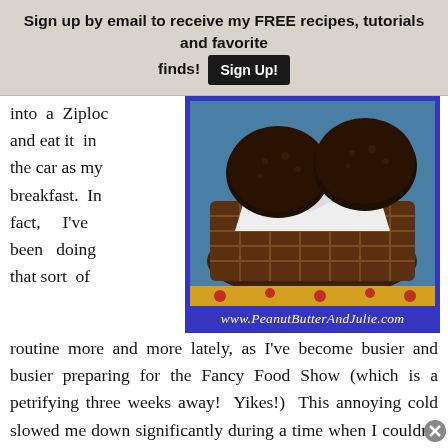Sign up by email to receive my FREE recipes, tutorials and favorite finds! Sign Up!
into a Ziploc and eat it in the car as my breakfast. In fact, I've been doing that sort of
[Figure (photo): Dark baked goods (energy balls or muffins) in a wicker basket with white cloth, on a blue and yellow patterned surface. Watermark: www.PeanutButterAndJulie.com]
routine more and more lately, as I've become busier and busier preparing for the Fancy Food Show (which is a petrifying three weeks away! Yikes!) This annoying cold slowed me down significantly during a time when I couldn't seem to move fast enough as it was. So now there's even more of a need to eat something both filling and portable first thing in the morning